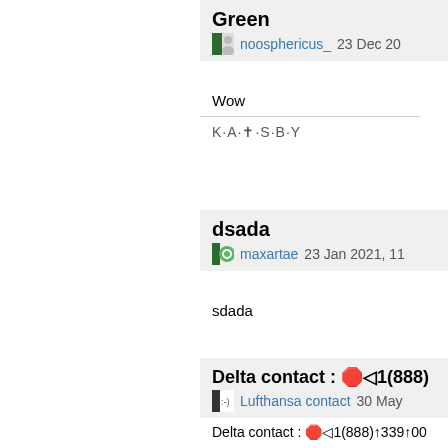Green
noosphericus_ 23 Dec 20
Wow
K·A·✝·S·B·Y
dsada
maxartae 23 Jan 2021, 11
sdada
Delta contact : 🛑◁1(888)
Lufthansa contact 30 May
Delta contact : 🛑◁1(888)↑339↑00
What is Delta Airline? 🛑 1＝888＝ Delta Air Lines is an Delta airline fleet size, revenue passenger m